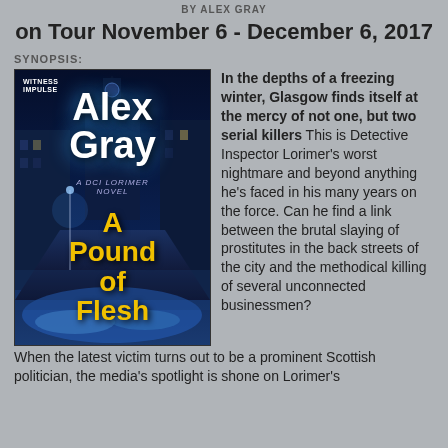BY ALEX GRAY
on Tour November 6 - December 6, 2017
SYNOPSIS:
[Figure (photo): Book cover of 'A Pound of Flesh' by Alex Gray, a DCI Lorimer Novel, published by Witness Impulse. Cover shows a dark winter alley scene in blue tones with yellow title text.]
In the depths of a freezing winter, Glasgow finds itself at the mercy of not one, but two serial killers This is Detective Inspector Lorimer’s worst nightmare and beyond anything he’s faced in his many years on the force. Can he find a link between the brutal slaying of prostitutes in the back streets of the city and the methodical killing of several unconnected businessmen?
When the latest victim turns out to be a prominent Scottish politician, the media’s spotlight is shone on Lorimer’s